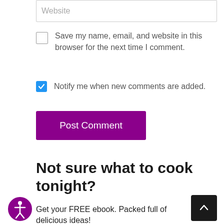Website
Save my name, email, and website in this browser for the next time I comment.
Notify me when new comments are added.
Post Comment
Not sure what to cook tonight?
Get your FREE ebook. Packed full of delicious ideas!